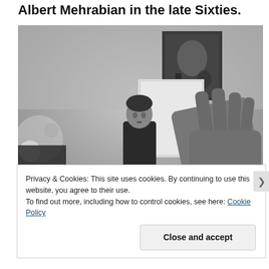Albert Mehrabian in the late Sixties.
[Figure (photo): Black and white photograph showing a man in the background and a large hand raised in the foreground, with a framed picture visible on the wall behind.]
Privacy & Cookies: This site uses cookies. By continuing to use this website, you agree to their use.
To find out more, including how to control cookies, see here: Cookie Policy
Close and accept